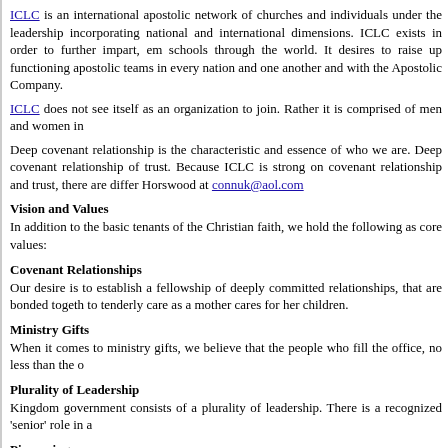ICLC is an international apostolic network of churches and individuals under the leadership incorporating national and international dimensions. ICLC exists in order to further impart, em schools through the world. It desires to raise up functioning apostolic teams in every nation and one another and with the Apostolic Company.
ICLC does not see itself as an organization to join. Rather it is comprised of men and women in
Deep covenant relationship is the characteristic and essence of who we are. Deep covenant relationship of trust. Because ICLC is strong on covenant relationship and trust, there are differ Horswood at connuk@aol.com
Vision and Values
In addition to the basic tenants of the Christian faith, we hold the following as core values:
Covenant Relationships
Our desire is to establish a fellowship of deeply committed relationships, that are bonded togeth to tenderly care as a mother cares for her children.
Ministry Gifts
When it comes to ministry gifts, we believe that the people who fill the office, no less than the o
Plurality of Leadership
Kingdom government consists of a plurality of leadership. There is a recognized 'senior' role in a
Pioneering
We believe in opening new territories, breaking up new ground, taking the next mountain, and problems.
Serving Others
The present members of the apostolic company recognize and each new member of the team m live to Christ and His followers so that the Bride might make herself ready (1 Thessalonians 2; R
Kingdom Social Action
We recognize the importance of our Kingdom Agenda and of this being expressed though the ch
Corporate Unity
God and His kingdom are larger than any of our spheres of influence, and He desires for these Expressing Union it is our apostolics ministries to come and work or come to coordinate